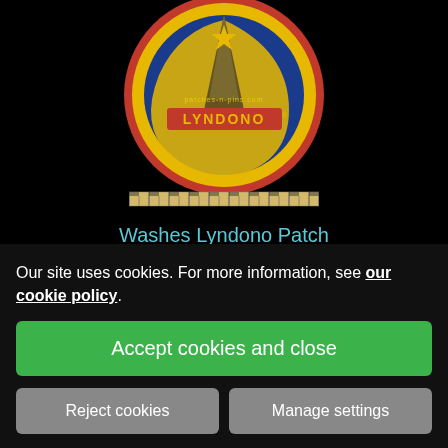[Figure (logo): Lyndono circular embroidered patch badge with yellow, blue, and red colors, star at top, and text 'LYNDONO' across center. Website text 'patches-n-pins.com' visible.]
[Figure (photo): A small ruler/scale bar shown horizontally for size reference.]
Washes Lyndono Patch
£4.00
VIEW DETAILS
Our site uses cookies. For more information, see our cookie policy.
Accept cookies and close
Reject cookies
Manage settings